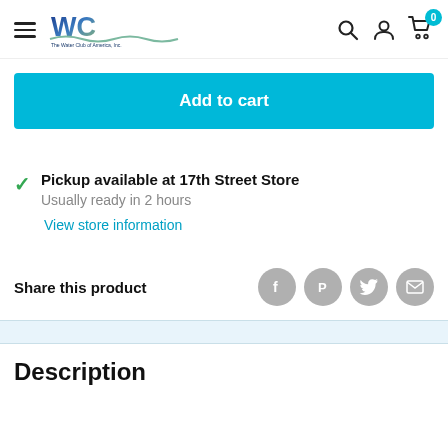The Water Club of America, Inc. — navigation header with logo, search, account, cart (0)
Add to cart
Pickup available at 17th Street Store
Usually ready in 2 hours
View store information
Share this product
Description